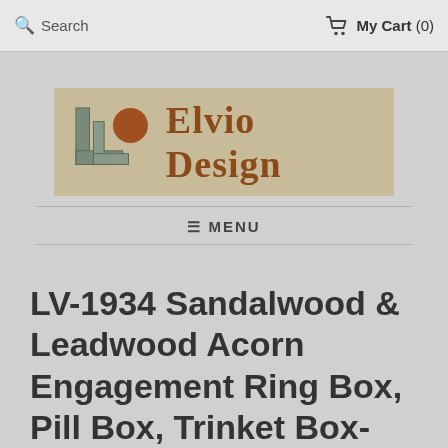Search   My Cart (0)
[Figure (logo): Elvio Design logo: stylized 'L' bracket with a brown circle, on a tan/khaki background, with 'Elvio Design' text in brown serif font]
≡ MENU
LV-1934 Sandalwood & Leadwood Acorn Engagement Ring Box, Pill Box, Trinket Box-SCREW CAP